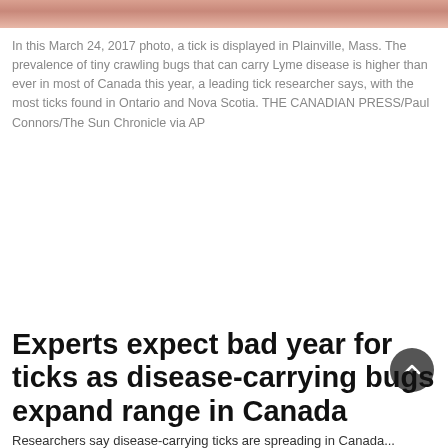[Figure (photo): Close-up photo of a tick displayed in Plainville, Mass., March 24, 2017 — only the bottom edge of the image is visible as a pink/flesh-toned strip at the top of the page.]
In this March 24, 2017 photo, a tick is displayed in Plainville, Mass. The prevalence of tiny crawling bugs that can carry Lyme disease is higher than ever in most of Canada this year, a leading tick researcher says, with the most ticks found in Ontario and Nova Scotia. THE CANADIAN PRESS/Paul Connors/The Sun Chronicle via AP
Experts expect bad year for ticks as disease-carrying bugs expand range in Canada
Researchers say disease-carrying ticks are spreading in Canada...